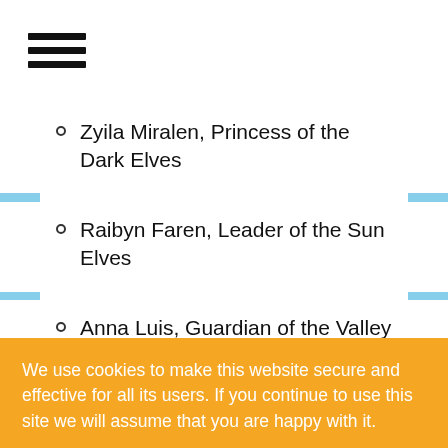☰ (hamburger menu icon)
Zyila Miralen, Princess of the Dark Elves
Raibyn Faren, Leader of the Sun Elves
Anna Luis, Guardian of the Valley Elves
We use cookies to make this website secure and effective for all its users. If you continue to use this site we will assume that you are happy with it.
Moon Elves
Raibyn Naeries, Assassin of the Moon